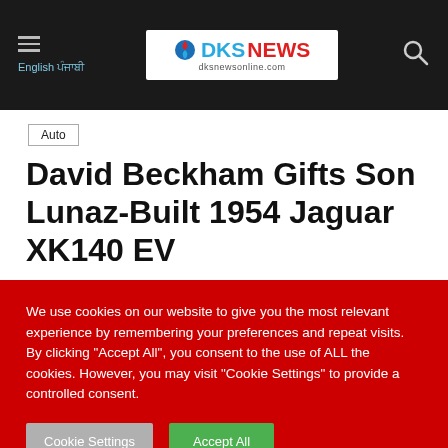English ਪੰਜਾਬੀ | DKS NEWS dksnewsonline.com
Auto
David Beckham Gifts Son Lunaz-Built 1954 Jaguar XK140 EV
By devanandsingh9199 - April 11, 2022  52  0
We use cookies on our website to give you the most relevant experience by remembering your preferences and repeat visits. By clicking "Accept All", you consent to the use of ALL the cookies. However, you may visit "Cookie Settings" to provide a controlled consent.